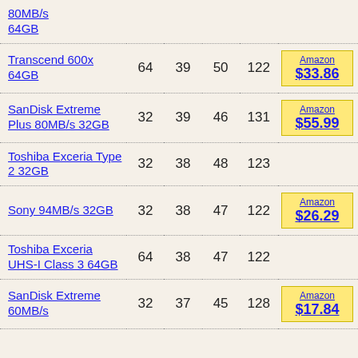| Product | GB | Col3 | Col4 | Col5 | Price |
| --- | --- | --- | --- | --- | --- |
| 80MB/s 64GB |  |  |  |  |  |
| Transcend 600x 64GB | 64 | 39 | 50 | 122 | Amazon $33.86 |
| SanDisk Extreme Plus 80MB/s 32GB | 32 | 39 | 46 | 131 | Amazon $55.99 |
| Toshiba Exceria Type 2 32GB | 32 | 38 | 48 | 123 |  |
| Sony 94MB/s 32GB | 32 | 38 | 47 | 122 | Amazon $26.29 |
| Toshiba Exceria UHS-I Class 3 64GB | 64 | 38 | 47 | 122 |  |
| SanDisk Extreme 60MB/s | 32 | 37 | 45 | 128 | Amazon $17.84 |